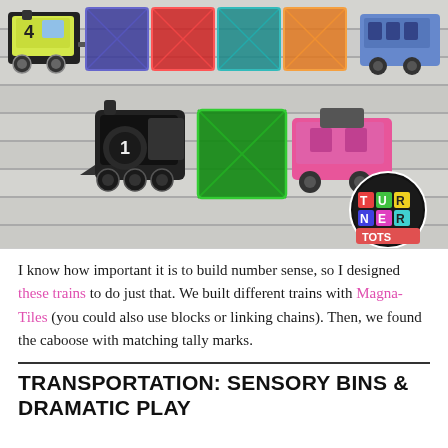[Figure (photo): Photo of colorful train toys and Magna-Tiles arranged on a wood surface. Top row shows train engine with number 4, then blue, red, teal, and orange Magna-Tile squares, then a blue train car. Bottom row shows a black steam engine, a green Magna-Tile square, and a pink train caboose. A circular Turner Tots logo is in the bottom right.]
I know how important it is to build number sense, so I designed these trains to do just that. We built different trains with Magna-Tiles (you could also use blocks or linking chains). Then, we found the caboose with matching tally marks.
TRANSPORTATION: SENSORY BINS & DRAMATIC PLAY